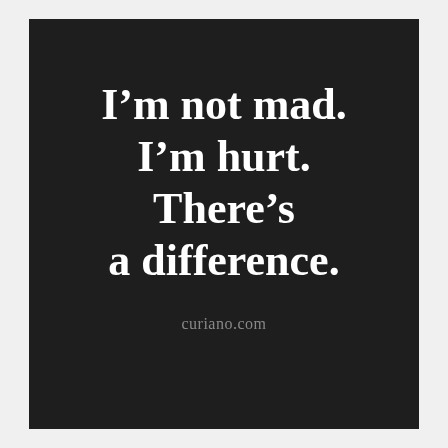I’m not mad. I’m hurt. There’s a difference.
curiano.com